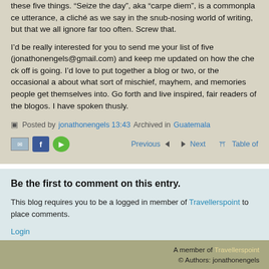these five things. “Seize the day”, aka “carpe diem”, is a commonplace utterance, a cliché as we say in the snub-nosing world of writing, but one that we all ignore far too often. Screw that.
I’d be really interested for you to send me your list of five (jonathonengels@gmail.com) and keep me updated on how the checking off is going. I’d love to put together a blog or two, or the occasional about what sort of mischief, mayhem, and memories people get themselves into. Go forth and live inspired, fair readers of the blogosphere. I have spoken thusly.
Posted by jonathonengels 13:43 Archived in Guatemala
[Figure (infographic): Social share icons (email, Facebook, StumbleUpon) and navigation links (Previous, Next, Table of Contents)]
Be the first to comment on this entry.
This blog requires you to be a logged in member of Travellerspoint to place comments.
Login
A member of Travellerspoint © Authors: jonathonengels